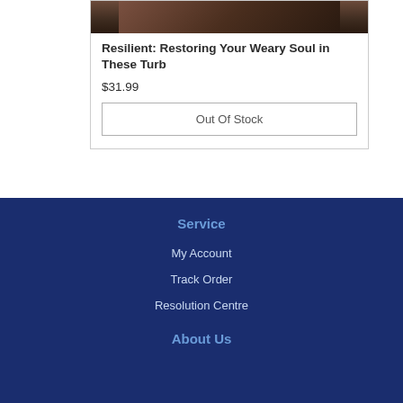[Figure (photo): Book cover image for Resilient: Restoring Your Weary Soul in These Turb — dark toned photograph]
Resilient: Restoring Your Weary Soul in These Turb
$31.99
Out Of Stock
Service
My Account
Track Order
Resolution Centre
About Us